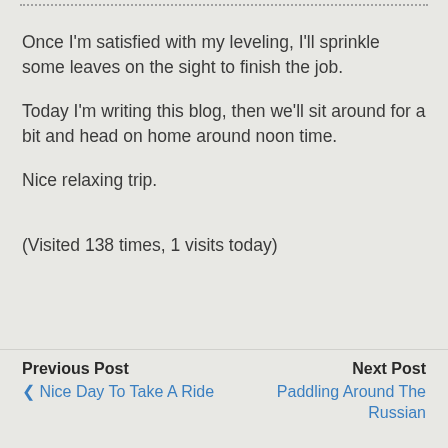Once I'm satisfied with my leveling, I'll sprinkle some leaves on the sight to finish the job.
Today I'm writing this blog, then we'll sit around for a bit and head on home around noon time.
Nice relaxing trip.
(Visited 138 times, 1 visits today)
Previous Post | Nice Day To Take A Ride | Next Post | Paddling Around The Russian